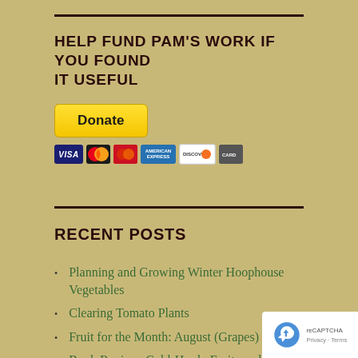HELP FUND PAM'S WORK IF YOU FOUND IT USEFUL
[Figure (other): PayPal Donate button with credit card logos (Visa, Mastercard, JCB, American Express, Discover, UATP)]
RECENT POSTS
Planning and Growing Winter Hoophouse Vegetables
Clearing Tomato Plants
Fruit for the Month: August (Grapes)
Book Review: Cold-Hardy Fruits and Nuts by